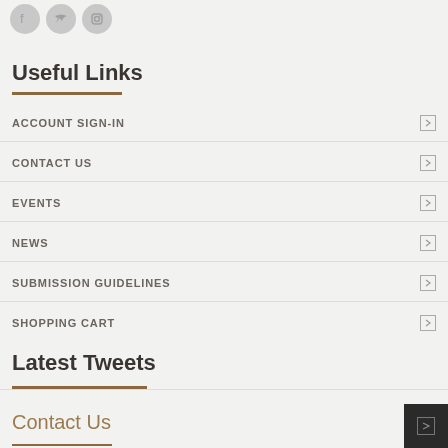[Figure (illustration): Three circular social media icons (Facebook, Twitter, another) in gray at the top of the page]
Useful Links
ACCOUNT SIGN-IN
CONTACT US
EVENTS
NEWS
SUBMISSION GUIDELINES
SHOPPING CART
Latest Tweets
Contact Us